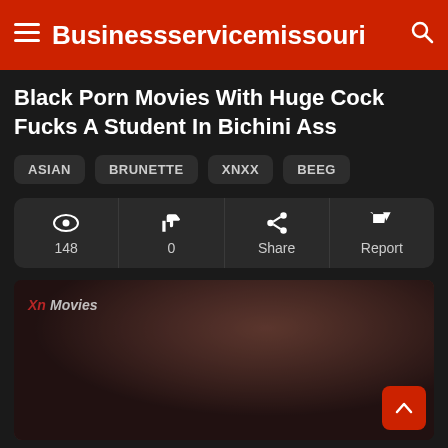Businessservicemissouri
Black Porn Movies With Huge Cock Fucks A Student In Bichini Ass
ASIAN
BRUNETTE
XNXX
BEEG
| Views | Likes | Share | Report |
| --- | --- | --- | --- |
| 148 | 0 | Share | Report |
[Figure (photo): Dark video thumbnail with watermark text 'XnMovies' in red and white italic text, showing a dark scene]